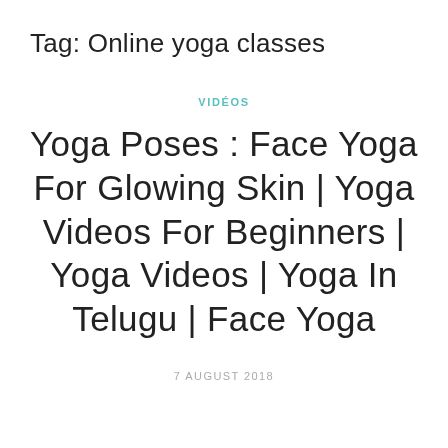Tag: Online yoga classes
VIDÉOS
Yoga Poses : Face Yoga For Glowing Skin | Yoga Videos For Beginners | Yoga Videos | Yoga In Telugu | Face Yoga
7 AUGUST 2018